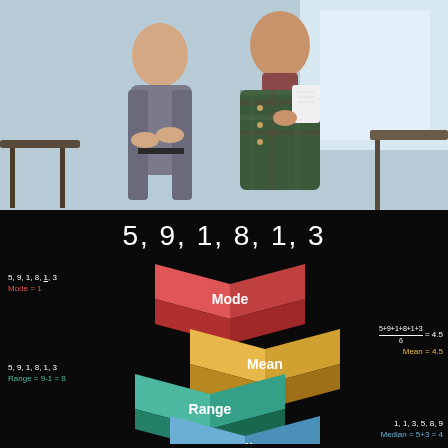[Figure (photo): Two business professionals standing together in an office environment, one holding documents]
[Figure (infographic): Mathematical infographic on black background showing dataset 5,9,1,8,1,3 with four 3D isometric colored blocks representing Mode (red, Mode=1), Mean (yellow/orange, Mean=4.5, formula (5+9+1+8+1+3)/6=4.5), Range (teal/green, Range=9-1=8), and Median (blue, Median=5+3=4, sorted: 1,1,3,5,8,9)]